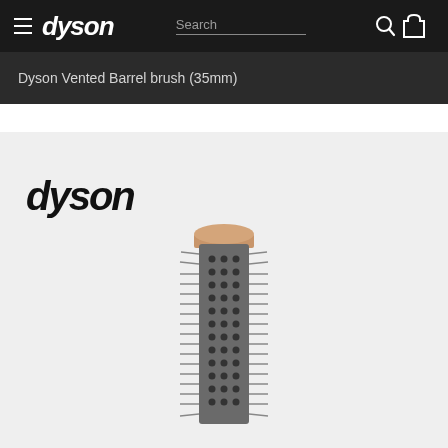dyson | Search
Dyson Vented Barrel brush (35mm)
[Figure (logo): Dyson brand logo in bold italic black text on light grey background]
[Figure (photo): Dyson Vented Barrel brush (35mm) - cylindrical barrel brush with dark metal vented barrel, bristles around the outside, and a gold/copper colored cap on top]